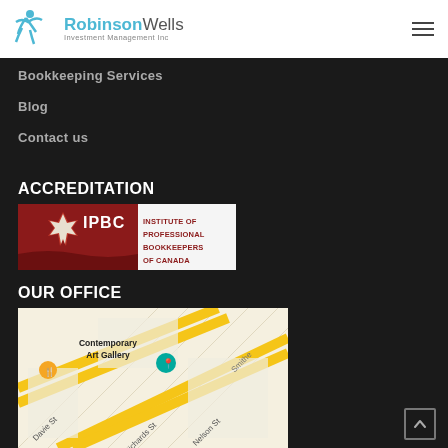[Figure (logo): Robinson Wells Investment Management Inc logo with teal running figure icon]
Bookkeeping Services
Blog
Contact us
ACCREDITATION
[Figure (logo): IPBC - Institute of Professional Bookkeepers of Canada logo with red maple leaf and banner]
OUR OFFICE
[Figure (map): Google Maps screenshot showing Contemporary Art Gallery area with Davie St, Richards St, Nelson St streets visible]